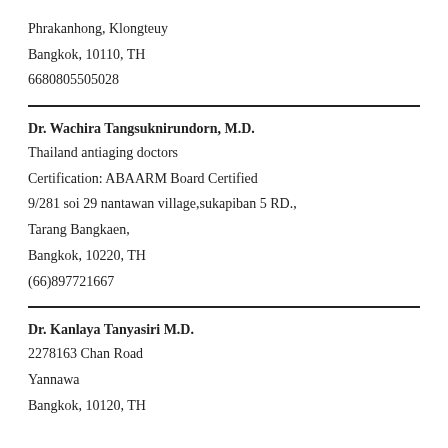Phrakanhong, Klongteuy
Bangkok, 10110, TH
6680805505028
Dr. Wachira Tangsuknirundorn, M.D.
Thailand antiaging doctors
Certification: ABAARM Board Certified
9/281 soi 29 nantawan village,sukapiban 5 RD.,
Tarang Bangkaen,
Bangkok, 10220, TH
(66)897721667
Dr. Kanlaya Tanyasiri M.D.
2278163 Chan Road
Yannawa
Bangkok, 10120, TH